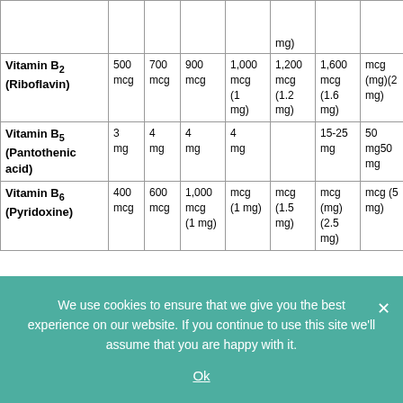| Nutrient | Col1 | Col2 | Col3 | Col4 | Col5 | Col6 | Col7 | Col8 |
| --- | --- | --- | --- | --- | --- | --- | --- | --- |
| mg) |  |  |  |  |  |  |  |  |
| Vitamin B2 (Riboflavin) | 500 mcg | 700 mcg | 900 mcg | 1,000 mcg (1 mg) | 1,200 mcg (1.2 mg) | 1,600 mcg (1.6 mg) | mcg (mg) | mcg (2 mg) |
| Vitamin B5 (Pantothenic acid) | 3 mg | 4 mg | 4 mg | 4 mg |  | 15-25 mg | 50 mg | 50 mg |
| Vitamin B6 (Pyridoxine) | 400 mcg | 600 mcg | 1,000 mcg (1 mg) | mcg (1 mg) | mcg (1.5 mg) | mcg (mg) | mcg (2.5 mg) | mcg (5 mg) |
We use cookies to ensure that we give you the best experience on our website. If you continue to use this site we'll assume that you are happy with it.
Ok